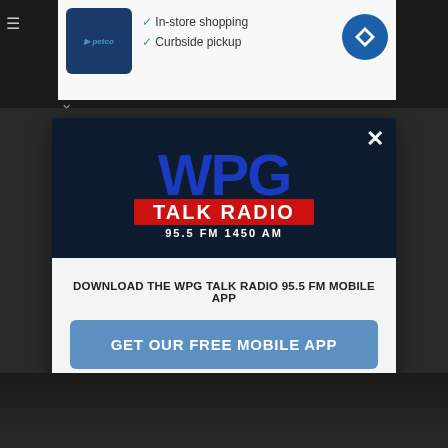[Figure (screenshot): Screenshot of a mobile browser showing a WPG Talk Radio 95.5 FM app download modal popup over a dark background webpage, with a Petco advertisement visible at the top.]
DOWNLOAD THE WPG TALK RADIO 95.5 FM MOBILE APP
GET OUR FREE MOBILE APP
Also listen on: amazon alexa